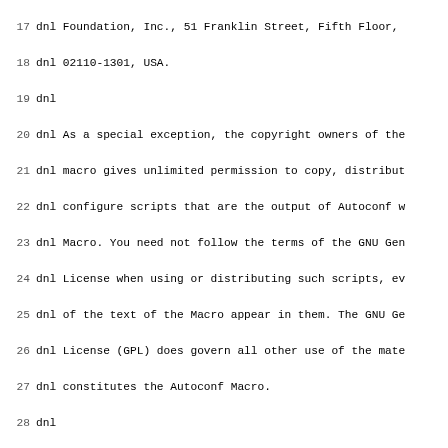Source code listing lines 17-49, autoconf macro file with dnl comments and AC_DEFUN block
17 dnl Foundation, Inc., 51 Franklin Street, Fifth Floor,
18 dnl 02110-1301, USA.
19 dnl
20 dnl As a special exception, the copyright owners of the
21 dnl macro gives unlimited permission to copy, distribut
22 dnl configure scripts that are the output of Autoconf w
23 dnl Macro. You need not follow the terms of the GNU Gen
24 dnl License when using or distributing such scripts, ev
25 dnl of the text of the Macro appear in them. The GNU Ge
26 dnl License (GPL) does govern all other use of the mate
27 dnl constitutes the Autoconf Macro.
28 dnl
29 dnl This special exception to the GPL applies to versio
30 dnl Autoconf Macro released by this project. When you m
31 dnl distribute a modified version of the Autoconf Macro
32 dnl this special exception to the GPL to apply to your
33 dnl well.
34
35 dnl Check if the flag is supported by compiler
36 dnl CC_CHECK_CFLAGS_SILENT([FLAG], [ACTION-IF-FOUND],[A
37
38 AC_DEFUN([CC_CHECK_CFLAGS_SILENT], [
39   AC_CACHE_VAL(AS_TR_SH([cc_cv_cflags_$1]),
40     [ac_save_CFLAGS="$CFLAGS"
41     CFLAGS="$CFLAGS $1"
42     AC_COMPILE_IFELSE([int a;],
43       [eval "AS_TR_SH([cc_cv_cflags_$1])='yes'"],
44       [eval "AS_TR_SH([cc_cv_cflags_$1])='no'"])
45     CFLAGS="$ac_save_CFLAGS"
46     ])
47
48   AS_IF([eval test x$]AS_TR_SH([cc_cv_cflags_$1])[ = xy
49   [$2], [$3])